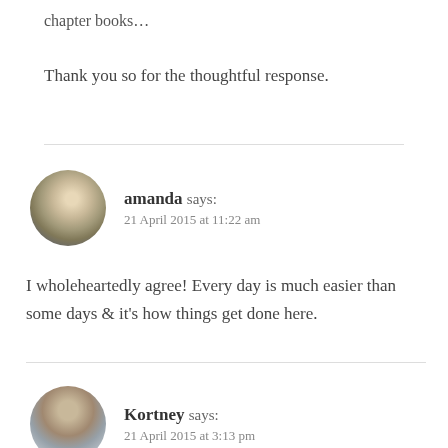chapter books…
Thank you so for the thoughtful response.
amanda says:
21 April 2015 at 11:22 am
I wholeheartedly agree! Every day is much easier than some days & it's how things get done here.
Kortney says:
21 April 2015 at 3:13 pm